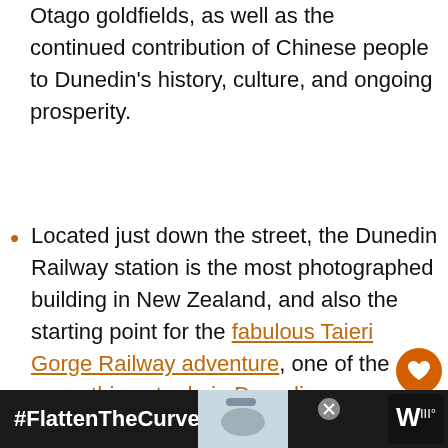Otago goldfields, as well as the continued contribution of Chinese people to Dunedin's history, culture, and ongoing prosperity.
Located just down the street, the Dunedin Railway station is the most photographed building in New Zealand, and also the starting point for the fabulous Taieri Gorge Railway adventure, one of the many things to do in Dunedin
If you are looking to combine the Dunedin Chinese Garden with other it...
#FlattenTheCurve